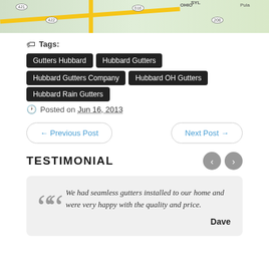[Figure (map): Partial view of a road map showing highway routes 422, 616, 208 and labels including OHIO, SYLY, Pula]
Tags: Gutters Hubbard  Hubbard Gutters  Hubbard Gutters Company  Hubbard OH Gutters  Hubbard Rain Gutters
Posted on Jun 16, 2013
← Previous Post
Next Post →
TESTIMONIAL
We had seamless gutters installed to our home and were very happy with the quality and price.
Dave